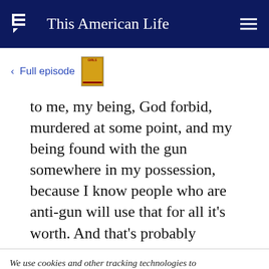This American Life
< Full episode
to me, my being, God forbid, murdered at some point, and my being found with the gun somewhere in my possession, because I know people who are anti-gun will use that for all it's worth. And that's probably
We use cookies and other tracking technologies to enhance your browsing experience. If you continue to use our site, you agree to the use of such cookies. For more info, see our privacy policy.
propaganda.